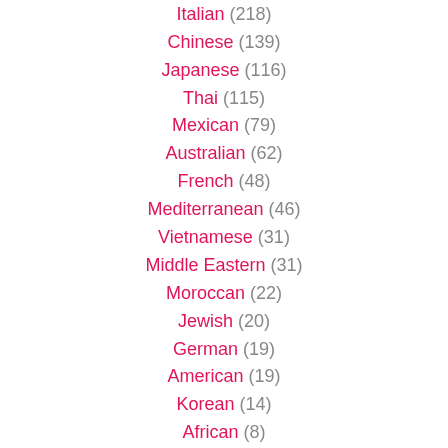Italian (218)
Chinese (139)
Japanese (116)
Thai (115)
Mexican (79)
Australian (62)
French (48)
Mediterranean (46)
Vietnamese (31)
Middle Eastern (31)
Moroccan (22)
Jewish (20)
German (19)
American (19)
Korean (14)
African (8)